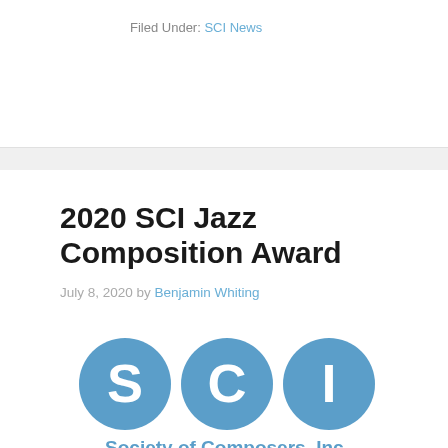Filed Under: SCI News
2020 SCI Jazz Composition Award
July 8, 2020 by Benjamin Whiting
[Figure (logo): Society of Composers, Inc. (SCI) logo — three blue circles each containing a white letter: S, C, I — with the text 'Society of Composers, Inc.' in blue below]